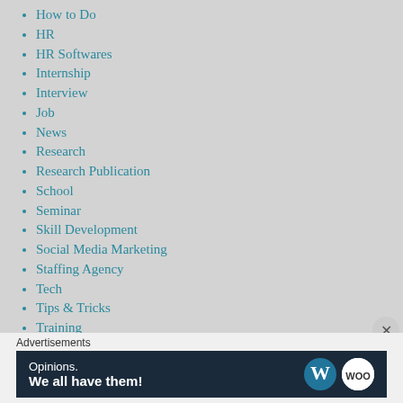How to Do
HR
HR Softwares
Internship
Interview
Job
News
Research
Research Publication
School
Seminar
Skill Development
Social Media Marketing
Staffing Agency
Tech
Tips & Tricks
Training
University
Workshop
Advertisements
[Figure (screenshot): WordPress advertisement banner: 'Opinions. We all have them!' with WordPress and WooCommerce logos on dark blue background]